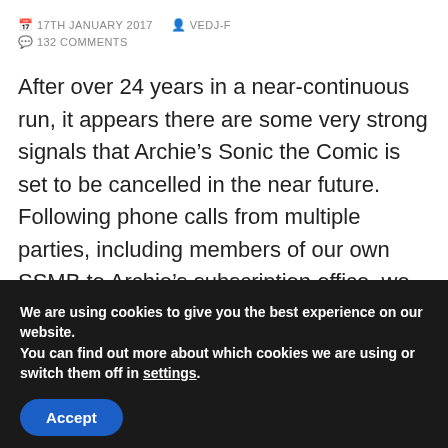17TH JANUARY 2017  VEDJ-F  132 COMMENTS
After over 24 years in a near-continuous run, it appears there are some very strong signals that Archie’s Sonic the Comic is set to be cancelled in the near future. Following phone calls from multiple parties, including members of our own SSMB to Archie’s subscription office, we have learned that they are not taking any more subscriptions pending more information.
We are using cookies to give you the best experience on our website.
You can find out more about which cookies we are using or switch them off in settings.
Accept